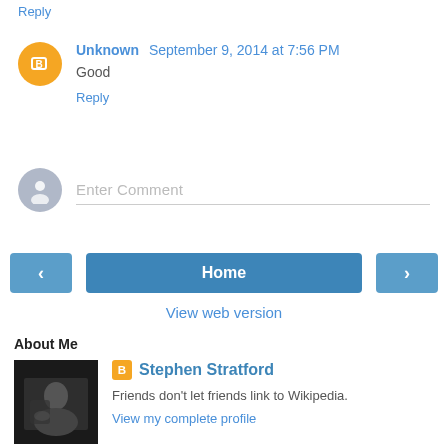Reply
Unknown  September 9, 2014 at 7:56 PM
Good
Reply
Enter Comment
Home
View web version
About Me
Stephen Stratford
Friends don't let friends link to Wikipedia.
View my complete profile